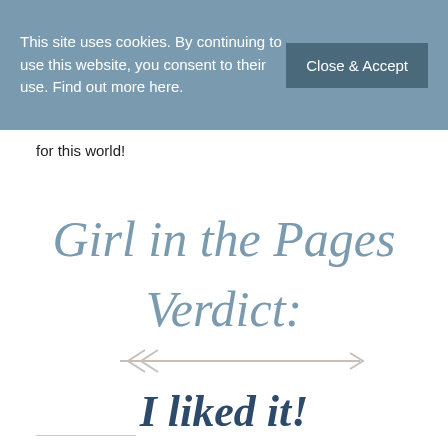This site uses cookies. By continuing to use this website, you consent to their use. Find out more here.
Close & Accept
for this world!
[Figure (illustration): Girl in the Pages Verdict: decorative script logo text in dusty blue, with an arrow graphic below]
I liked it!